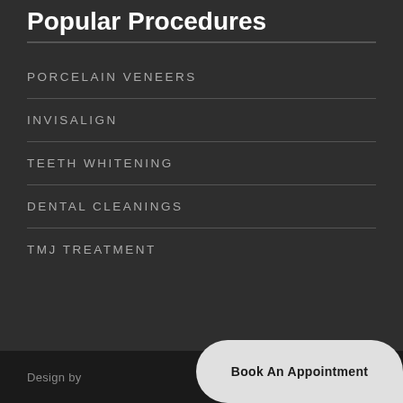Popular Procedures
PORCELAIN VENEERS
INVISALIGN
TEETH WHITENING
DENTAL CLEANINGS
TMJ TREATMENT
Design by  Book An Appointment